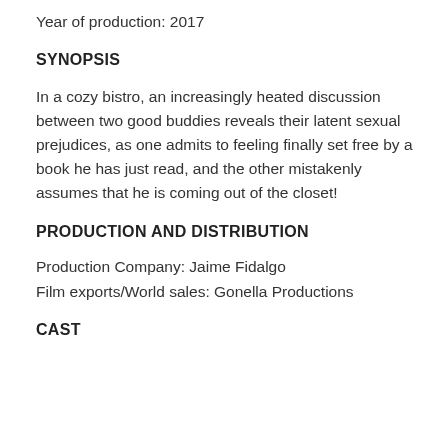Year of production: 2017
SYNOPSIS
In a cozy bistro, an increasingly heated discussion between two good buddies reveals their latent sexual prejudices, as one admits to feeling finally set free by a book he has just read, and the other mistakenly assumes that he is coming out of the closet!
PRODUCTION AND DISTRIBUTION
Production Company: Jaime Fidalgo
Film exports/World sales: Gonella Productions
CAST